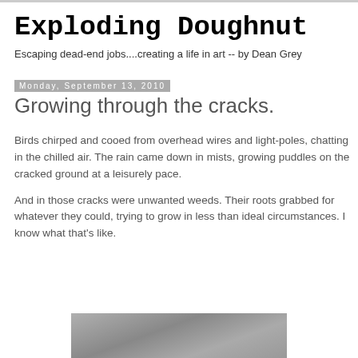Exploding Doughnut
Escaping dead-end jobs....creating a life in art -- by Dean Grey
Growing through the cracks.
Monday, September 13, 2010
Birds chirped and cooed from overhead wires and light-poles, chatting in the chilled air. The rain came down in mists, growing puddles on the cracked ground at a leisurely pace.
And in those cracks were unwanted weeds. Their roots grabbed for whatever they could, trying to grow in less than ideal circumstances. I know what that's like.
[Figure (photo): Partial photo visible at bottom of page, appears to show a cracked or textured surface in grayscale]